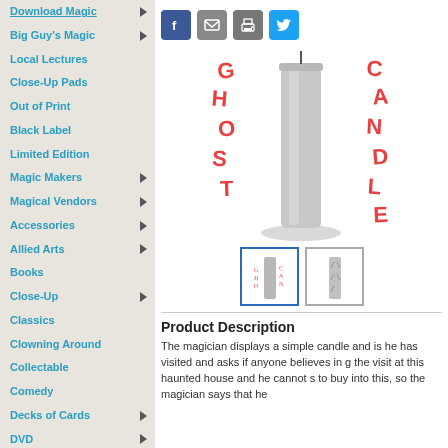Download Magic
Big Guy's Magic
Local Lectures
Close-Up Pads
Out of Print
Black Label
Limited Edition
Magic Makers
Magical Vendors
Accessories
Allied Arts
Books
Close-Up
Classics
Clowning Around
Collectable
Comedy
Decks of Cards
DVD
Gifts
Juggling
[Figure (photo): Ghost Candle product image showing a gray candle with red drip-style 'GHOST CANDLE' text on either side, with two small thumbnail images below]
Product Description
The magician displays a simple candle and is he has visited and asks if anyone believes in g the visit at this haunted house and he cannot s to buy into this, so the magician says that he